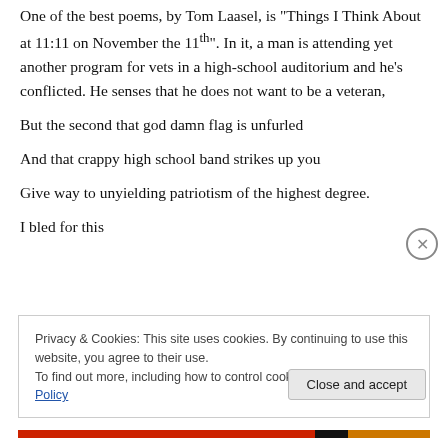One of the best poems, by Tom Laasel, is "Things I Think About at 11:11 on November the 11th". In it, a man is attending yet another program for vets in a high-school auditorium and he's conflicted. He senses that he does not want to be a veteran,
But the second that god damn flag is unfurled
And that crappy high school band strikes up you
Give way to unyielding patriotism of the highest degree.
I bled for this
Privacy & Cookies: This site uses cookies. By continuing to use this website, you agree to their use.
To find out more, including how to control cookies, see here: Cookie Policy